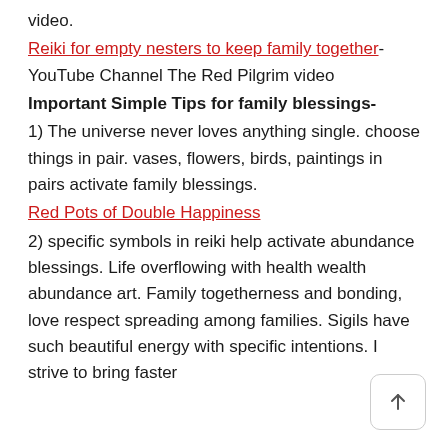video.
Reiki for empty nesters to keep family together-YouTube Channel The Red Pilgrim video
Important Simple Tips for family blessings-
1) The universe never loves anything single. choose things in pair. vases, flowers, birds, paintings in pairs activate family blessings.
Red Pots of Double Happiness
2) specific symbols in reiki help activate abundance blessings. Life overflowing with health wealth abundance art. Family togetherness and bonding, love respect spreading among families. Sigils have such beautiful energy with specific intentions. I strive to bring faster